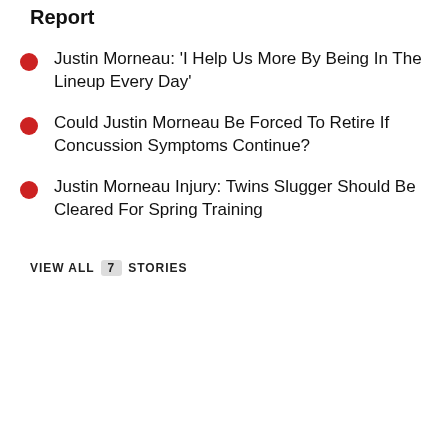Report
Justin Morneau: 'I Help Us More By Being In The Lineup Every Day'
Could Justin Morneau Be Forced To Retire If Concussion Symptoms Continue?
Justin Morneau Injury: Twins Slugger Should Be Cleared For Spring Training
VIEW ALL  7  STORIES
[Figure (other): Black video player with play button and mute icon, with a Learn more button below]